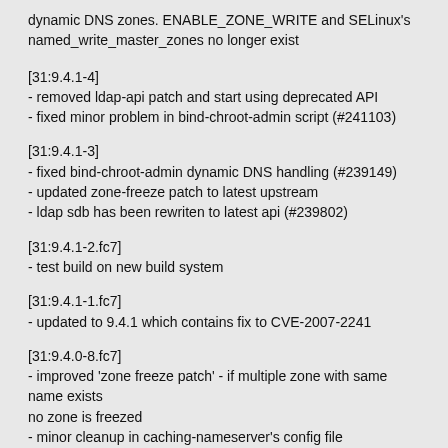dynamic DNS zones. ENABLE_ZONE_WRITE and SELinux's named_write_master_zones no longer exist
[31:9.4.1-4]
- removed ldap-api patch and start using deprecated API
- fixed minor problem in bind-chroot-admin script (#241103)
[31:9.4.1-3]
- fixed bind-chroot-admin dynamic DNS handling (#239149)
- updated zone-freeze patch to latest upstream
- ldap sdb has been rewriten to latest api (#239802)
[31:9.4.1-2.fc7]
- test build on new build system
[31:9.4.1-1.fc7]
- updated to 9.4.1 which contains fix to CVE-2007-2241
[31:9.4.0-8.fc7]
- improved 'zone freeze patch' - if multiple zone with same name exists no zone is freezed
- minor cleanup in caching-nameserver's config file
- fixed race-condition in dbus code (#235809)
- added forgotten restorecon statement in bind-chroot-admin